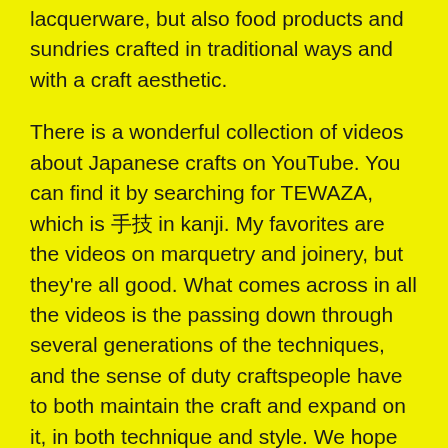lacquerware, but also food products and sundries crafted in traditional ways and with a craft aesthetic.
There is a wonderful collection of videos about Japanese crafts on YouTube. You can find it by searching for TEWAZA, which is 手技 in kanji. My favorites are the videos on marquetry and joinery, but they're all good. What comes across in all the videos is the passing down through several generations of the techniques, and the sense of duty craftspeople have to both maintain the craft and expand on it, in both technique and style. We hope you have the opportunity to experience real Japanese craftsmanship, and that we can do something to make that happen.